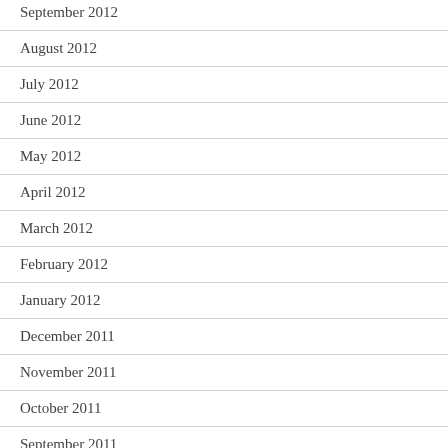September 2012
August 2012
July 2012
June 2012
May 2012
April 2012
March 2012
February 2012
January 2012
December 2011
November 2011
October 2011
September 2011
August 2011
July 2011